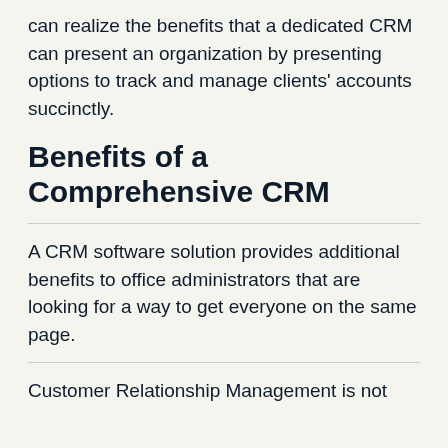can realize the benefits that a dedicated CRM can present an organization by presenting options to track and manage clients' accounts succinctly.
Benefits of a Comprehensive CRM
A CRM software solution provides additional benefits to office administrators that are looking for a way to get everyone on the same page.
Customer Relationship Management is not